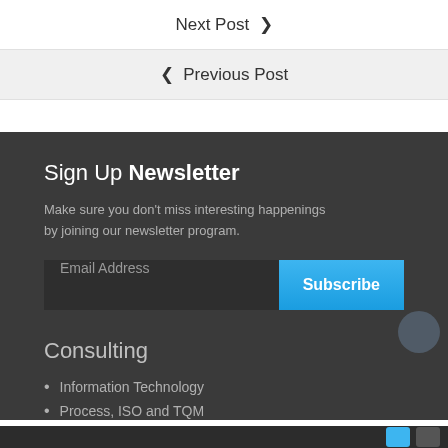Next Post ❯
❮ Previous Post
Sign Up Newsletter
Make sure you don't miss interesting happenings by joining our newsletter program.
Email Address  Subscribe
Consulting
Information Technology
Process, ISO and TQM